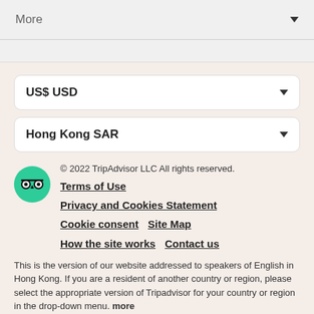More ▼
US$ USD ▼
Hong Kong SAR ▼
© 2022 TripAdvisor LLC All rights reserved.
Terms of Use
Privacy and Cookies Statement
Cookie consent   Site Map
How the site works   Contact us
This is the version of our website addressed to speakers of English in Hong Kong. If you are a resident of another country or region, please select the appropriate version of Tripadvisor for your country or region in the drop-down menu. more